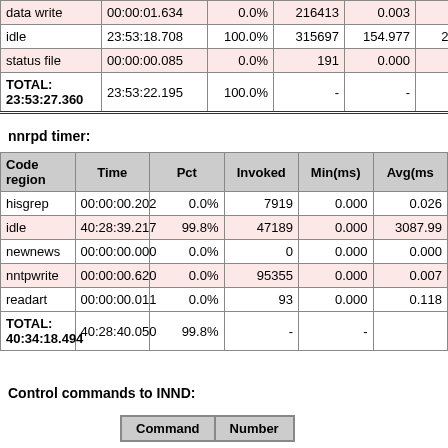| Code region | Time | Pct | Invoked | Min(ms) | Avg(ms) |
| --- | --- | --- | --- | --- | --- |
| data write | 00:00:01.634 | 0.0% | 216413 | 0.003 | 0.00 |
| idle | 23:53:18.708 | 100.0% | 315697 | 154.977 | 272.40 |
| status file | 00:00:00.085 | 0.0% | 191 | 0.000 | 0.44 |
| TOTAL: 23:53:27.360 | 23:53:22.195 | 100.0% | - | - |  |
nnrpd timer:
| Code region | Time | Pct | Invoked | Min(ms) | Avg(ms) |
| --- | --- | --- | --- | --- | --- |
| hisgrep | 00:00:00.202 | 0.0% | 7919 | 0.000 | 0.026 |
| idle | 40:28:39.217 | 99.8% | 47189 | 0.000 | 3087.99 |
| newnews | 00:00:00.000 | 0.0% | 0 | 0.000 | 0.000 |
| nntpwrite | 00:00:00.620 | 0.0% | 95355 | 0.000 | 0.007 |
| readart | 00:00:00.011 | 0.0% | 93 | 0.000 | 0.118 |
| TOTAL: 40:34:18.494 | 40:28:40.050 | 99.8% | - | - |  |
Control commands to INND:
| Command | Number |
| --- | --- |